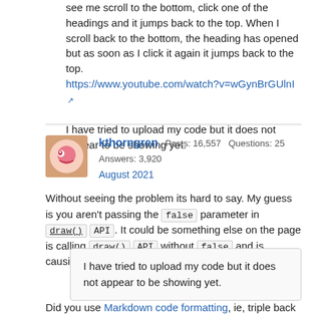see me scroll to the bottom, click one of the headings and it jumps back to the top. When I scroll back to the bottom, the heading has opened but as soon as I click it again it jumps back to the top.
https://www.youtube.com/watch?v=wGynBrGUlnI
I have tried to upload my code but it does not appear to be showing yet.
kthorngren  Posts: 16,557  Questions: 25  Answers: 3,920
August 2021
Without seeing the problem its hard to say. My guess is you aren't passing the false parameter in draw() API. It could be something else on the page is calling draw() API without false and is causing the page to go to the top.
I have tried to upload my code but it does not appear to be showing yet.
Did you use Markdown code formatting, ie, triple back